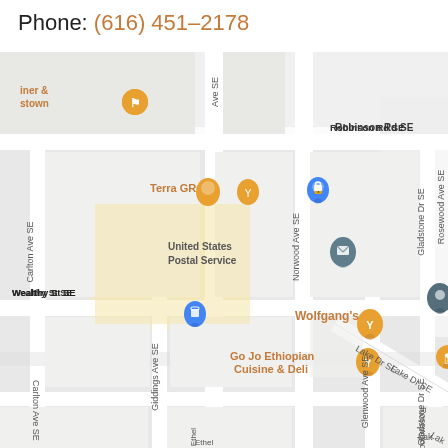Phone: (616) 451-2178
[Figure (map): Google Maps screenshot showing the Eastown neighborhood in Grand Rapids, Michigan. Streets visible include Robinson Rd SE, Norwood Ave SE, Gladstone Dr SE, Rosewood Ave SE, Carlton Ave SE, Wealthy St SE, Giddings Ave SE, Lake Dr SE, Glenwood Ave SE, Ethel St. Points of interest include United States Postal Service, Terra GR, Wolfgang's, Go Jo Ethiopian Cuisine & Deli, Jude's Barbershop Eastown, Harmony Brewing Company, and unnamed diner & Stown location. Map includes orange restaurant/food markers and blue shopping markers.]